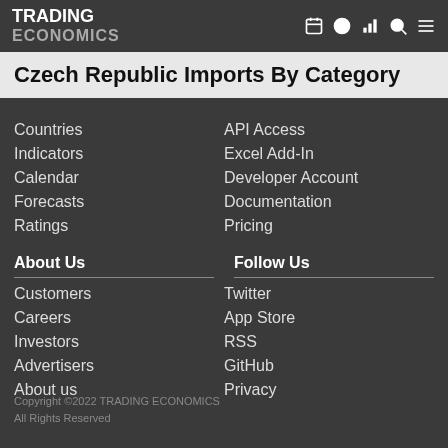TRADING ECONOMICS
Czech Republic Imports By Category
Countries
Indicators
Calendar
Forecasts
Ratings
API Access
Excel Add-In
Developer Account
Documentation
Pricing
About Us
Customers
Careers
Investors
Advertisers
About us
Follow Us
Twitter
App Store
RSS
GitHub
Privacy
Copyright ©2022 TRADING ECONOMICS
All Rights Reserved